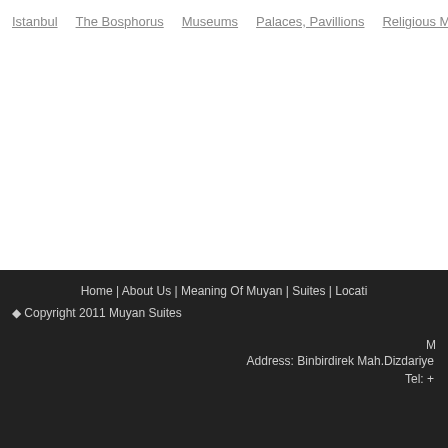Istanbul   The Bosphorus   Museums   Palaces, Pavillions   Religious Monument
Home | About Us | Meaning Of Muyan | Suites | Locati
© Copyright 2011 Muyan Suites
M
Address: Binbirdirek Mah.Dizdariye
Tel: +